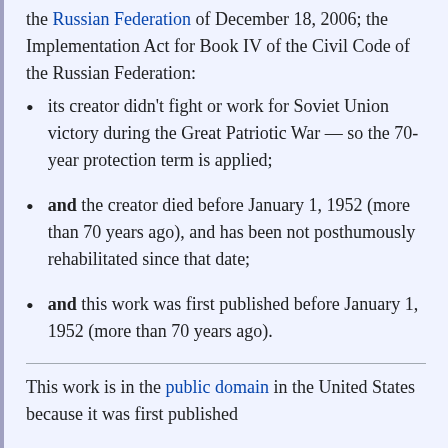the Russian Federation of December 18, 2006; the Implementation Act for Book IV of the Civil Code of the Russian Federation:
its creator didn't fight or work for Soviet Union victory during the Great Patriotic War — so the 70-year protection term is applied;
and the creator died before January 1, 1952 (more than 70 years ago), and has been not posthumously rehabilitated since that date;
and this work was first published before January 1, 1952 (more than 70 years ago).
This work is in the public domain in the United States because it was first published